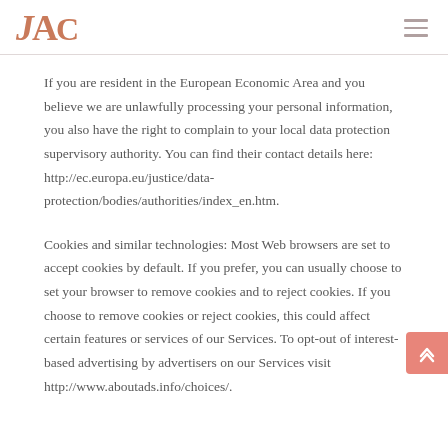JAC
If you are resident in the European Economic Area and you believe we are unlawfully processing your personal information, you also have the right to complain to your local data protection supervisory authority. You can find their contact details here: http://ec.europa.eu/justice/data-protection/bodies/authorities/index_en.htm.
Cookies and similar technologies: Most Web browsers are set to accept cookies by default. If you prefer, you can usually choose to set your browser to remove cookies and to reject cookies. If you choose to remove cookies or reject cookies, this could affect certain features or services of our Services. To opt-out of interest-based advertising by advertisers on our Services visit http://www.aboutads.info/choices/.